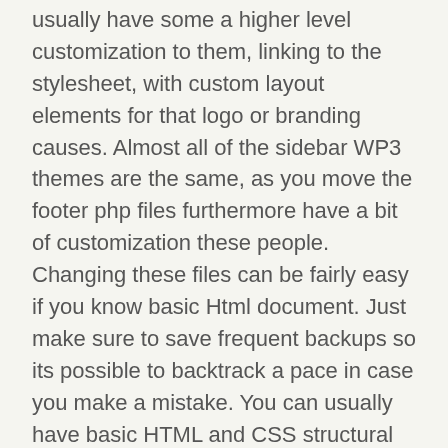usually have some a higher level customization to them, linking to the stylesheet, with custom layout elements for that logo or branding causes. Almost all of the sidebar WP3 themes are the same, as you move the footer php files furthermore have a bit of customization these people. Changing these files can be fairly easy if you know basic Html document. Just make sure to save frequent backups so its possible to backtrack a pace in case you make a mistake. You can usually have basic HTML and CSS structural changes to these files without too much effort.
The club membership is a form belonging to the all-theme access model, but requires would you a recurring cost in order to retain access to the themes for a year.